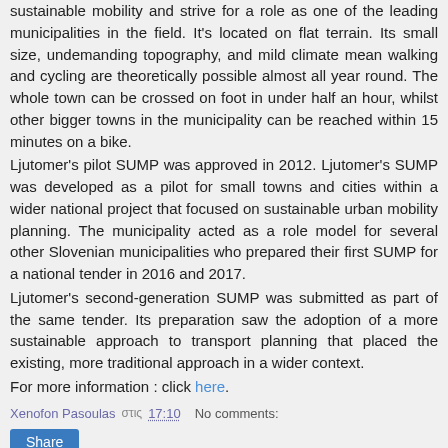sustainable mobility and strive for a role as one of the leading municipalities in the field. It's located on flat terrain. Its small size, undemanding topography, and mild climate mean walking and cycling are theoretically possible almost all year round. The whole town can be crossed on foot in under half an hour, whilst other bigger towns in the municipality can be reached within 15 minutes on a bike. Ljutomer's pilot SUMP was approved in 2012. Ljutomer's SUMP was developed as a pilot for small towns and cities within a wider national project that focused on sustainable urban mobility planning. The municipality acted as a role model for several other Slovenian municipalities who prepared their first SUMP for a national tender in 2016 and 2017. Ljutomer's second-generation SUMP was submitted as part of the same tender. Its preparation saw the adoption of a more sustainable approach to transport planning that placed the existing, more traditional approach in a wider context. For more information : click here.
Xenofon Pasoulas στις 17:10   No comments:
Share